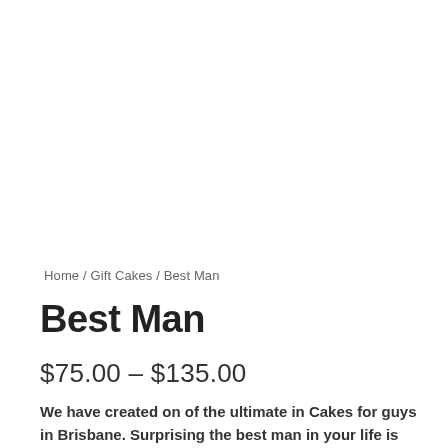Home / Gift Cakes / Best Man
Best Man
$75.00 – $135.00
We have created on of the ultimate in Cakes for guys in Brisbane. Surprising the best man in your life is easy with